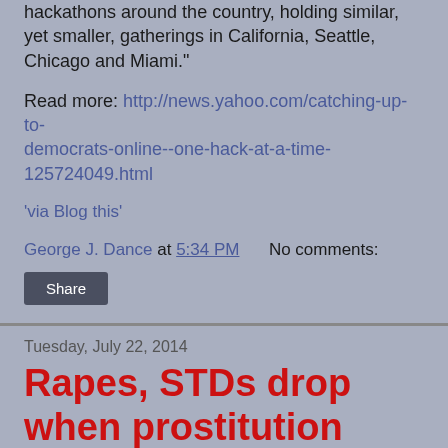hackathons around the country, holding similar, yet smaller, gatherings in California, Seattle, Chicago and Miami."
Read more: http://news.yahoo.com/catching-up-to-democrats-online--one-hack-at-a-time-125724049.html
'via Blog this'
George J. Dance at 5:34 PM   No comments:
Share
Tuesday, July 22, 2014
Rapes, STDs drop when prostitution legal in RI
When Rhode Island accidentally legalized prostitution, rape decreased sharply - Max Ehrenfreud, Wonkblog, Washington Post: